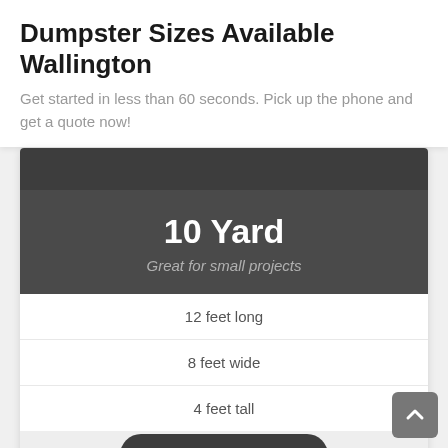Dumpster Sizes Available Wallington
Get started in less than 60 seconds. Pick up the phone and get a quote now!
10 Yard
Great for small projects
12 feet long
8 feet wide
4 feet tall
(888) 815-4150